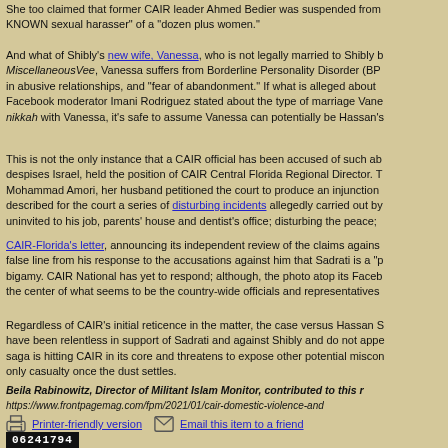She too claimed that former CAIR leader Ahmed Bedier was suspended from KNOWN sexual harasser" of a "dozen plus women."
And what of Shibly's new wife, Vanessa, who is not legally married to Shibly but goes by MiscellaneousVee, Vanessa suffers from Borderline Personality Disorder (BP in abusive relationships, and "fear of abandonment." If what is alleged about Facebook moderator Imani Rodriguez stated about the type of marriage Vane nikkah with Vanessa, it's safe to assume Vanessa can potentially be Hassan's
This is not the only instance that a CAIR official has been accused of such ab despises Israel, held the position of CAIR Central Florida Regional Director. T Mohammad Amori, her husband petitioned the court to produce an injunction described for the court a series of disturbing incidents allegedly carried out by uninvited to his job, parents' house and dentist's office; disturbing the peace;
CAIR-Florida's letter, announcing its independent review of the claims agains false line from his response to the accusations against him that Sadrati is a "p bigamy. CAIR National has yet to respond; although, the photo atop its Faceb the center of what seems to be the country-wide officials and representatives
Regardless of CAIR's initial reticence in the matter, the case versus Hassan S have been relentless in support of Sadrati and against Shibly and do not appe saga is hitting CAIR in its core and threatens to expose other potential miscon only casualty once the dust settles.
Beila Rabinowitz, Director of Militant Islam Monitor, contributed to this r
https://www.frontpagemag.com/fpm/2021/01/cair-domestic-violence-and
Printer-friendly version    Email this item to a friend
06241794